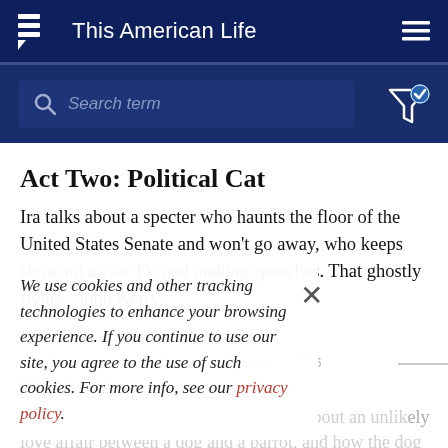This American Life
Act Two: Political Cat
Ira talks about a specter who haunts the floor of the United States Senate and won't go away, who keeps showing up on TV and making speeches. That ghostly figure? John Kerry.
We use cookies and other tracking technologies to enhance your browsing experience. If you continue to use our site, you agree to the use of such cookies. For more info, see our privacy policy.
315: The Parrot and the Potbellied Pig July 21, 2006
Prologue
Host Ira Glass talks with Rosie Schaap about an unlikely love affair between a dog and a parrot, and how the dog